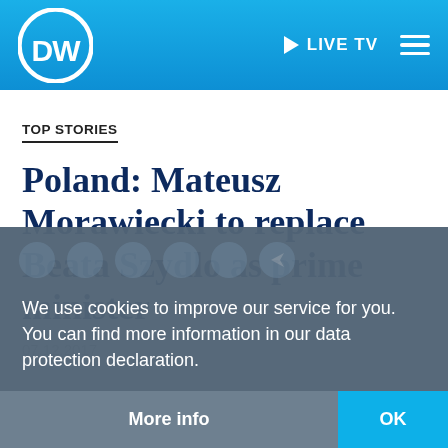DW | LIVE TV
TOP STORIES
Poland: Mateusz Morawiecki to replace Beata Szydlo as prime minister
07.12.2017
We use cookies to improve our service for you. You can find more information in our data protection declaration.
More info    OK